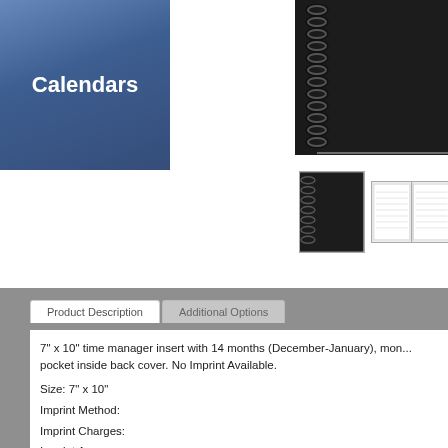Calendars
[Figure (photo): Large spiral-bound black notebook/planner, showing wire coil spine on the left side, with dark cover]
[Figure (photo): Two small thumbnail images of the spiral-bound planner: one showing closed cover, one showing open pages]
Product Description | Additional Options (tabs)
7" x 10" time manager insert with 14 months (December-January), mon... pocket inside back cover. No Imprint Available.
Size: 7" x 10"
Imprint Method:
Imprint Charges:
Imprint Area: